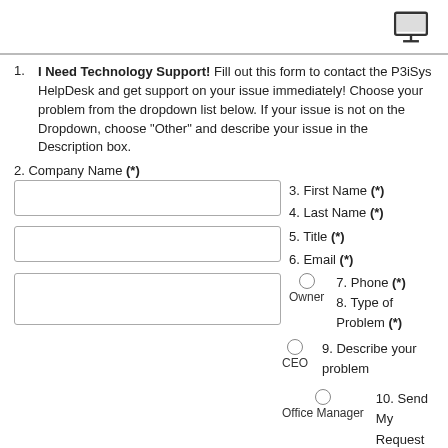[monitor icon]
I Need Technology Support! Fill out this form to contact the P3iSys HelpDesk and get support on your issue immediately! Choose your problem from the dropdown list below. If your issue is not on the Dropdown, choose "Other" and describe your issue in the Description box.
2. Company Name (*)
3. First Name (*)
4. Last Name (*)
5. Title (*)
6. Email (*)
7. Phone (*)
8. Type of Problem (*)
9. Describe your problem
10. Send My Request
11.
Owner
CEO
Office Manager
Other
Go to top